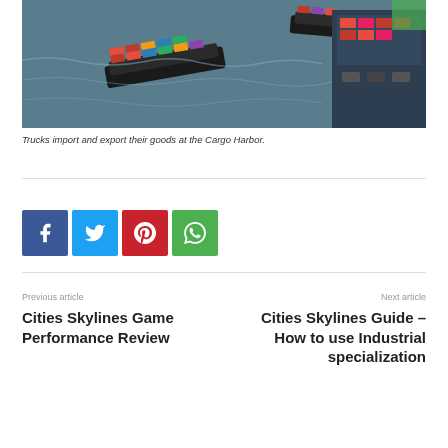[Figure (photo): Aerial view of cargo ships and trucks at a harbor/port, showing vessels with colorful shipping containers on water.]
Trucks import and export their goods at the Cargo Harbor.
[Figure (infographic): Social media share buttons: Facebook (blue), Twitter (light blue), Pinterest (red), WhatsApp (green)]
Previous article
Cities Skylines Game Performance Review
Next article
Cities Skylines Guide – How to use Industrial specialization